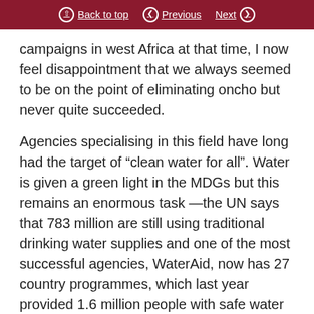Back to top | Previous | Next
campaigns in west Africa at that time, I now feel disappointment that we always seemed to be on the point of eliminating oncho but never quite succeeded.
Agencies specialising in this field have long had the target of “clean water for all”. Water is given a green light in the MDGs but this remains an enormous task —the UN says that 783 million are still using traditional drinking water supplies and one of the most successful agencies, WaterAid, now has 27 country programmes, which last year provided 1.6 million people with safe water and 1.9 million with sanitation. Oxfam and CARE have also been prominent in this field. Coming from the background of the voluntary sector, people like me